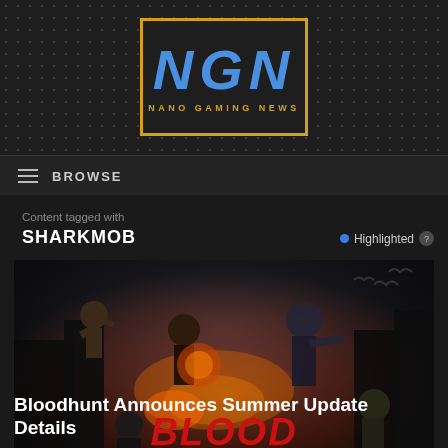NGN NANO GAMING NEWS
≡ BROWSE
Content tagged with
SHARKMOB
● Highlighted ?
[Figure (screenshot): Bloodhunt game art showing vampires and characters fighting in a dramatic night scene with fire and the BLOODHUNT logo visible]
Bloodhunt Announces Summer Update Details